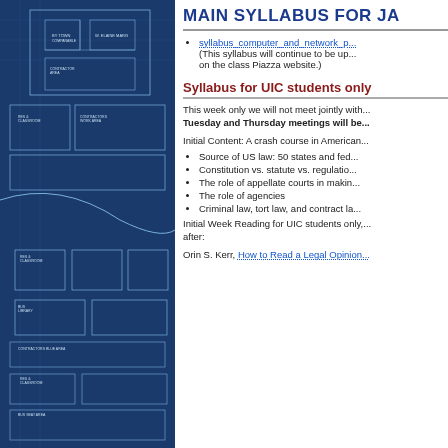[Figure (illustration): Blueprint architectural/engineering drawing showing building floor plans and site layout in white lines on dark blue background]
MAIN SYLLABUS FOR JA
syllabus_computer_and_network_p... (This syllabus will continue to be up... on the class Piazza website.)
Syllabus for UIC students only
This week only we will not meet jointly with... Tuesday and Thursday meetings will be...
Initial Content: A crash course in American...
Source of US law: 50 states and fed...
Constitution vs. statute vs. regulatio...
The role of appellate courts in makin...
The role of agencies
Criminal law, tort law, and contract la...
Initial Week Reading for UIC students only,... after:
Orin S. Kerr, How to Read a Legal Opinion...